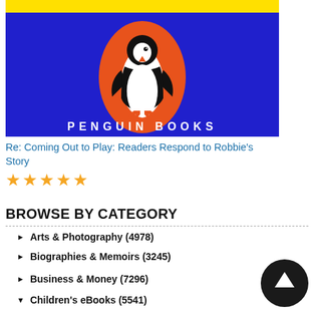[Figure (logo): Penguin Books logo: blue background with orange oval containing a black and white penguin, with 'PENGUIN BOOKS' text in white below]
Re: Coming Out to Play: Readers Respond to Robbie's Story
★★★★★
BROWSE BY CATEGORY
Arts & Photography (4978)
Biographies & Memoirs (3245)
Business & Money (7296)
Children's eBooks (5541)